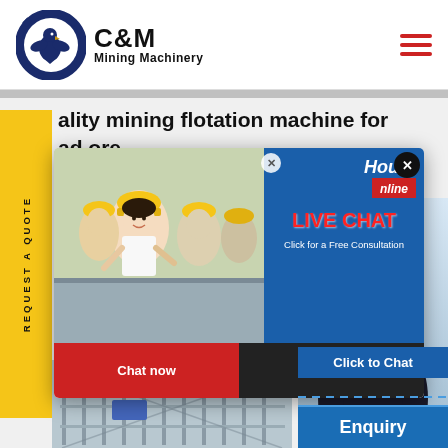[Figure (logo): C&M Mining Machinery logo with eagle gear emblem]
ality mining flotation machine for ad ore
d Flotat na...Chin ect 2017 ducts in best price from certifie ing flotation machine for lead o
[Figure (screenshot): Live Chat popup overlay with workers photo, LIVE CHAT heading in red, Click for a Free Consultation, Chat now and Chat later buttons]
[Figure (photo): Customer service representative with headset on right side, Click to Chat badge and Enquiry badge]
[Figure (photo): Industrial facility/scaffolding photo at bottom left]